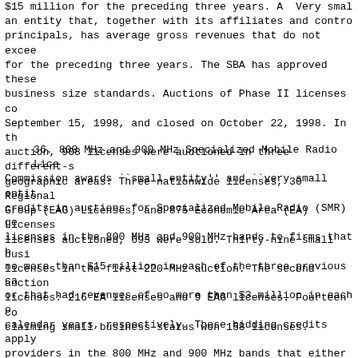$15 million for the preceding three years. A Very small entity is an entity that, together with its affiliates and controlling principals, has average gross revenues that do not exceed $15 million for the preceding three years. The SBA has approved these small business size standards. Auctions of Phase II licenses commenced on September 15, 1998, and closed on October 22, 1998. In the Phase II auction, 908 licenses were auctioned in three different-sized geographic areas: Three nationwide licenses, 30 Regional Economic Area Group (EAG) Licenses, and 875 Economic Area (EA) Licenses. Of the licenses auctioned, 693 were sold. Thirty-nine small businesses won licenses in the first 220 MHz auction. The second auction produced 225 licenses: 216 EA licenses and 9 EAG licenses. Fourteen companies claiming small business status won 158 licenses.
36. 800 MHz and 900 MHz Specialized Mobile Radio Licenses. The Commission awards ``small entity'' and ``very small entity'' bidding credits in auctions for Specialized Mobile Radio (SMR) geographic area licenses in the 800 MHz and 900 MHz bands to firms that had revenues of no more than $15 million in each of the three previous calendar years, or that had revenues of no more than $3 million in each of the three calendar years, respectively. These bidding credits apply to SMR providers in the 800 MHz and 900 MHz bands that either hold geographic area licenses or have obtained extended implementation authorizations. The Commission does not know how many firms provide 800 MHz or 900 MHz geographic area SMR service pursuant to extended implementation authorizations, nor how many of these providers have annual revenues of no more than $15 million. One firm has over $15 million in revenues. The Commission assumes, for purposes here, that all of the firms with existing extended implementation authorizations are held by small entities, as that term is defined by the SBA. The Commission is holding auctions for geographic area licenses in the 800 MHz and